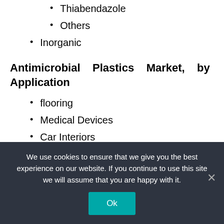Thiabendazole
Others
Inorganic
Antimicrobial Plastics Market, by Application
flooring
Medical Devices
Car Interiors
Food Packaging
sports equipment
appliances
We use cookies to ensure that we give you the best experience on our website. If you continue to use this site we will assume that you are happy with it.